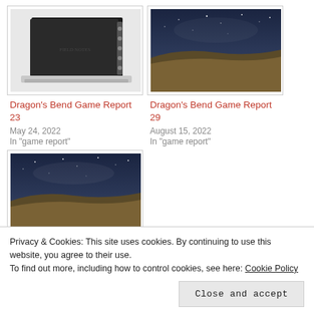[Figure (photo): Dark notebook/laptop on white background]
Dragon’s Bend Game Report 23
May 24, 2022
In “game report”
[Figure (photo): Night sky over desert landscape]
Dragon’s Bend Game Report 29
August 15, 2022
In “game report”
[Figure (photo): Night sky over desert landscape (second instance)]
Privacy & Cookies: This site uses cookies. By continuing to use this website, you agree to their use.
To find out more, including how to control cookies, see here: Cookie Policy
Close and accept